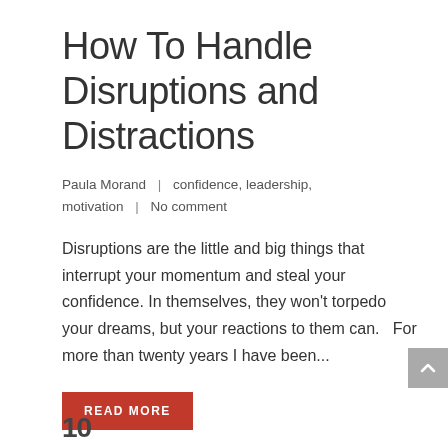How To Handle Disruptions and Distractions
Paula Morand  |  confidence, leadership, motivation  |  No comment
Disruptions are the little and big things that interrupt your momentum and steal your confidence. In themselves, they won't torpedo your dreams, but your reactions to them can.   For more than twenty years I have been...
READ MORE